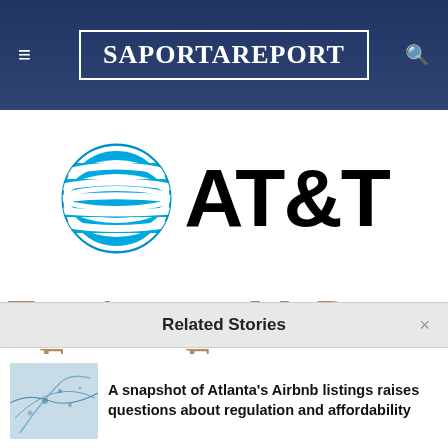SaportaReport
[Figure (logo): AT&T logo with blue globe icon and AT&T text in bold black]
[Figure (logo): The Arthur M. Blank Family Foundation logo in gold/bronze small-caps serif text]
Related Stories
A snapshot of Atlanta's Airbnb listings raises questions about regulation and affordability